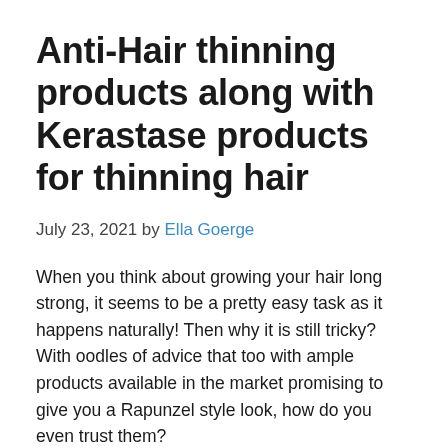Anti-Hair thinning products along with Kerastase products for thinning hair
July 23, 2021 by Ella Goerge
When you think about growing your hair long strong, it seems to be a pretty easy task as it happens naturally! Then why it is still tricky? With oodles of advice that too with ample products available in the market promising to give you a Rapunzel style look, how do you even trust them?
Most of the products promise thicker and